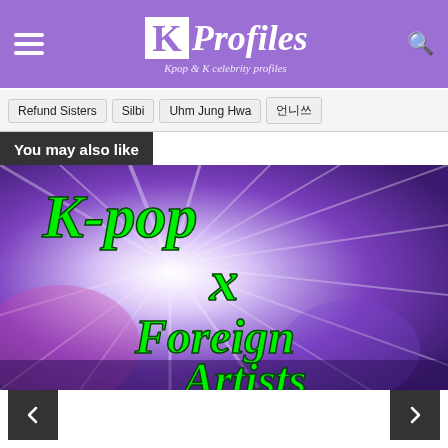KProfiles - Kpop & K celebrity profiles
Refund Sisters
Silbi
Uhm Jung Hwa
언니쓰
You may also like
[Figure (photo): K-pop x Foreign Artists promotional image with stage lighting and concert crowd background, text in green italic font reading 'K-pop x Foreign Artists']